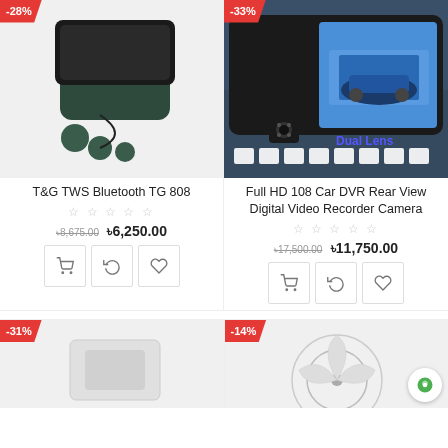[Figure (photo): T&G TWS Bluetooth earbuds with charging case, white background, -28% badge]
[Figure (photo): Full HD Car DVR Rear View camera with dual lens, showing rearview mirror display, -33% badge]
T&G TWS Bluetooth TG 808
☆ ☆ ☆ ☆ ☆
৳৳8,675.00  ৳৳6,250.00
Full HD 108 Car DVR Rear View Digital Video Recorder Camera
☆ ☆ ☆ ☆ ☆
৳৳17,500.00  ৳৳11,750.00
[Figure (photo): Partially visible product with -31% badge]
[Figure (photo): Partially visible product with -14% badge]